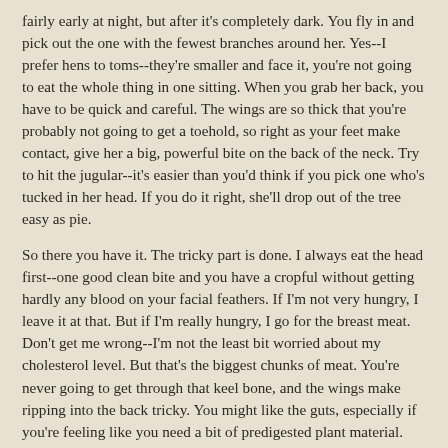fairly early at night, but after it's completely dark. You fly in and pick out the one with the fewest branches around her. Yes--I prefer hens to toms--they're smaller and face it, you're not going to eat the whole thing in one sitting. When you grab her back, you have to be quick and careful. The wings are so thick that you're probably not going to get a toehold, so right as your feet make contact, give her a big, powerful bite on the back of the neck. Try to hit the jugular--it's easier than you'd think if you pick one who's tucked in her head. If you do it right, she'll drop out of the tree easy as pie.
So there you have it. The tricky part is done. I always eat the head first--one good clean bite and you have a cropful without getting hardly any blood on your facial feathers. If I'm not very hungry, I leave it at that. But if I'm really hungry, I go for the breast meat. Don't get me wrong--I'm not the least bit worried about my cholesterol level. But that's the biggest chunks of meat. You're never going to get through that keel bone, and the wings make ripping into the back tricky. You might like the guts, especially if you're feeling like you need a bit of predigested plant material. Turkey guts can be mighty tasty if it's a good acorn year.